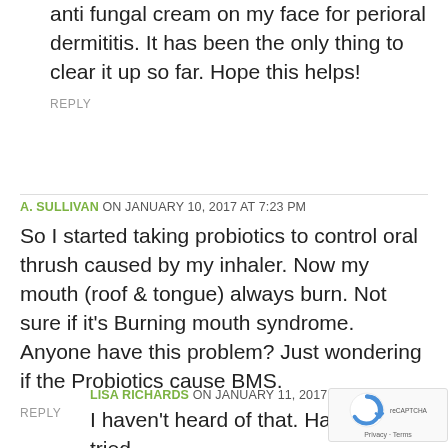anti fungal cream on my face for perioral dermititis. It has been the only thing to clear it up so far. Hope this helps!
REPLY
A. SULLIVAN ON JANUARY 10, 2017 AT 7:23 PM
So I started taking probiotics to control oral thrush caused by my inhaler. Now my mouth (roof & tongue) always burn. Not sure if it's Burning mouth syndrome. Anyone have this problem? Just wondering if the Probiotics cause BMS.
REPLY
LISA RICHARDS ON JANUARY 11, 2017 AT 6:04 PM
I haven't heard of that. Have you tried